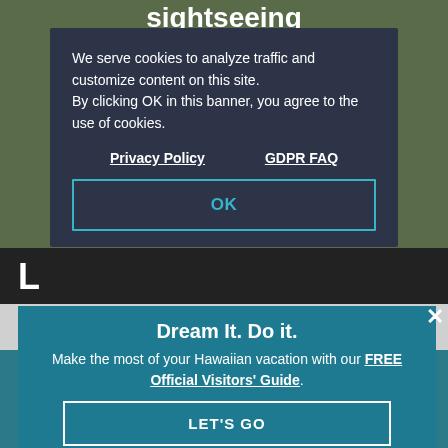sightseeing
We serve cookies to analyze traffic and customize content on this site.
By clicking OK in this banner, you agree to the use of cookies.
Privacy Policy   GDPR FAQ
OK
Dream It. Do it.
Make the most of your Hawaiian vacation with our FREE Official Visitors' Guide.
LET'S GO